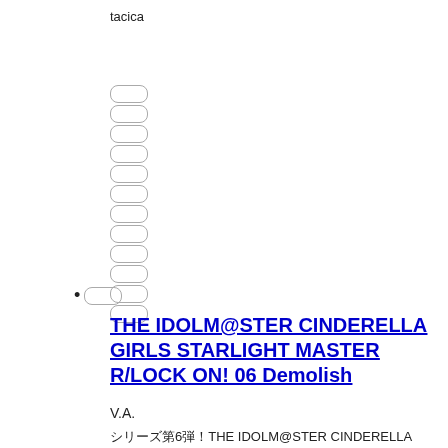tacica
□
□
□
□
□
□
□
□
□
□
□
□ (bulleted)
THE IDOLM@STER CINDERELLA GIRLS STARLIGHT MASTER R/LOCK ON! 06 Demolish
V.A.
シリーズ第6弾！THE IDOLM@STER CINDERELLA GIRLS STARLIGHT MASTER R/LOCK ON! 06 Demolish